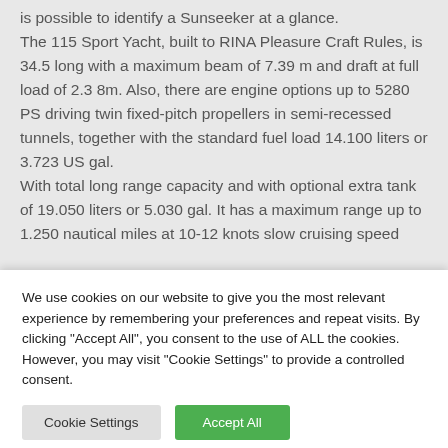is possible to identify a Sunseeker at a glance. The 115 Sport Yacht, built to RINA Pleasure Craft Rules, is 34.5 long with a maximum beam of 7.39 m and draft at full load of 2.3 8m. Also, there are engine options up to 5280 PS driving twin fixed-pitch propellers in semi-recessed tunnels, together with the standard fuel load 14.100 liters or 3.723 US gal. With total long range capacity and with optional extra tank of 19.050 liters or 5.030 gal. It has a maximum range up to 1.250 nautical miles at 10-12 knots slow cruising speed
We use cookies on our website to give you the most relevant experience by remembering your preferences and repeat visits. By clicking "Accept All", you consent to the use of ALL the cookies. However, you may visit "Cookie Settings" to provide a controlled consent.